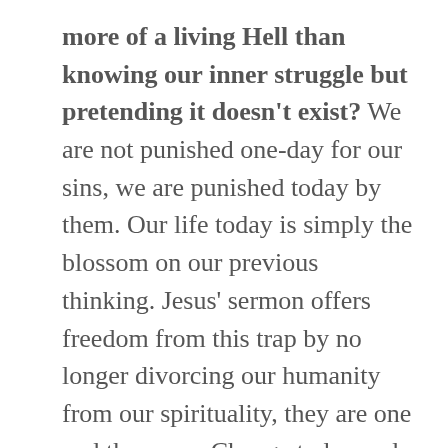more of a living Hell than knowing our inner struggle but pretending it doesn't exist? We are not punished one-day for our sins, we are punished today by them. Our life today is simply the blossom on our previous thinking. Jesus' sermon offers freedom from this trap by no longer divorcing our humanity from our spirituality, they are one and the same. Change today and life moves into conformity to the heaven within.
Liberation from lust will not come through a computer nanny that keeps